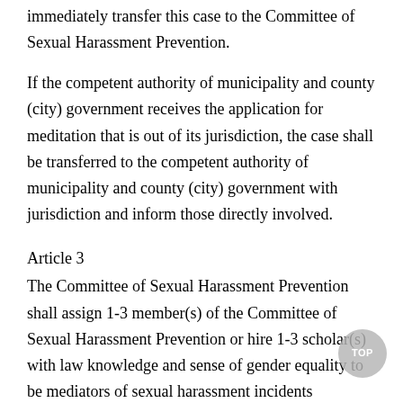immediately transfer this case to the Committee of Sexual Harassment Prevention.
If the competent authority of municipality and county (city) government receives the application for meditation that is out of its jurisdiction, the case shall be transferred to the competent authority of municipality and county (city) government with jurisdiction and inform those directly involved.
Article 3
The Committee of Sexual Harassment Prevention shall assign 1-3 member(s) of the Committee of Sexual Harassment Prevention or hire 1-3 scholar(s) with law knowledge and sense of gender equality to be mediators of sexual harassment incidents (hereinafter referred to as the mediators) within ten days after the competent authority of municipality and county (city) government receiving the application. With the